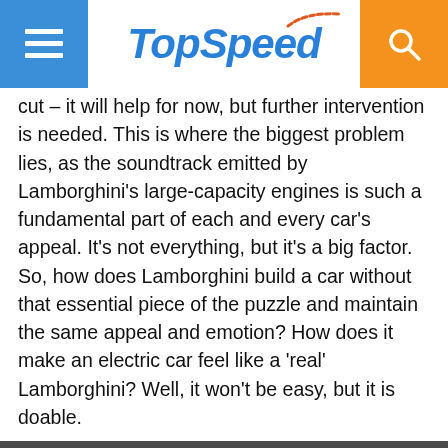TopSpeed
cut – it will help for now, but further intervention is needed. This is where the biggest problem lies, as the soundtrack emitted by Lamborghini's large-capacity engines is such a fundamental part of each and every car's appeal. It's not everything, but it's a big factor. So, how does Lamborghini build a car without that essential piece of the puzzle and maintain the same appeal and emotion? How does it make an electric car feel like a 'real' Lamborghini? Well, it won't be easy, but it is doable.